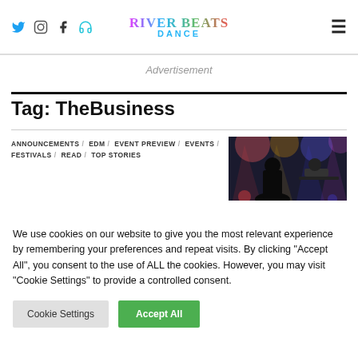River Beats Dance — social icons, logo, hamburger menu
Advertisement
Tag: TheBusiness
ANNOUNCEMENTS / EDM / EVENT PREVIEW / EVENTS / FESTIVALS / READ / TOP STORIES
[Figure (photo): DJ performing on stage with dramatic lighting — silhouette of person in foreground]
We use cookies on our website to give you the most relevant experience by remembering your preferences and repeat visits. By clicking "Accept All", you consent to the use of ALL the cookies. However, you may visit "Cookie Settings" to provide a controlled consent.